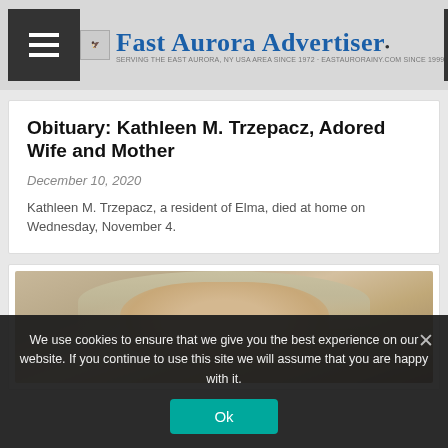Fast Aurora Advertiser — SERVING THE EAST AURORA, NY USA AREA SINCE 1972 · EASTAURORAINY.COM SINCE 1999
Obituary: Kathleen M. Trzepacz, Adored Wife and Mother
December 10, 2020
Kathleen M. Trzepacz, a resident of Elma, died at home on Wednesday, November 4.
[Figure (photo): Portrait photo of Kathleen M. Trzepacz, partially visible, showing face and hair]
We use cookies to ensure that we give you the best experience on our website. If you continue to use this site we will assume that you are happy with it.